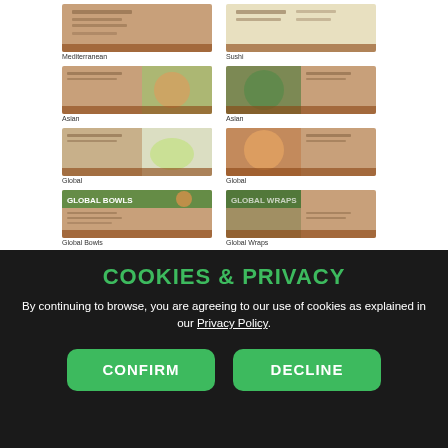[Figure (screenshot): Grid of 8 restaurant menu thumbnail images arranged in 4 rows of 2 columns, showing various menu styles including Mediterranean, Sushi, Asian, Asian bowl dish, Global, Global wrap/bowl categories, Global Bowls, and Global Wraps menus. Each thumbnail has a small caption label below it.]
COOKIES & PRIVACY
By continuing to browse, you are agreeing to our use of cookies as explained in our Privacy Policy.
CONFIRM
DECLINE